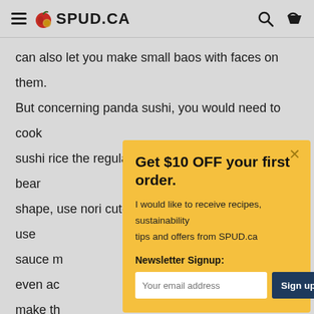SPUD.CA
can also let you make small baos with faces on them. But concerning panda sushi, you would need to cook sushi rice the regular way, mould it into a panda bear shape, use nori cutouts to create the face, and use sauce m... even ac... make th...
Teddy
[Figure (other): Small circular placeholder image thumbnail]
[Figure (infographic): Popup modal with yellow background. Title: Get $10 OFF your first order. Body: I would like to receive recipes, sustainability tips and offers from SPUD.ca. Newsletter Signup input field and Sign up button. Close button (x) in top right.]